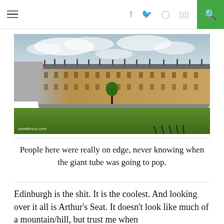≡   f  🐦  ○  )))  🔍
[Figure (photo): Aerial/ground-level view of the Royal Crescent in Bath, England – a curved row of Georgian terraced houses with a green lawn in the foreground and cloudy sky above. Watermark: noodleroux.com]
People here were really on edge, never knowing when the giant tube was going to pop.
Edinburgh is the shit. It is the coolest. And looking over it all is Arthur's Seat. It doesn't look like much of a mountain/hill, but trust me when